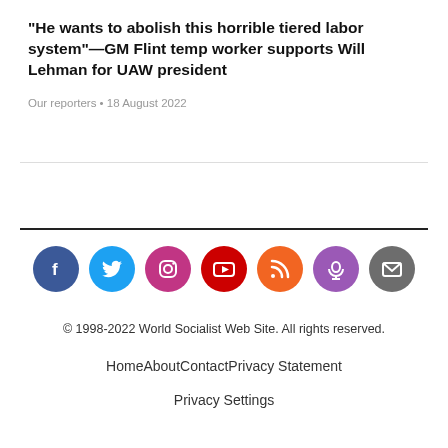“He wants to abolish this horrible tiered labor system”—GM Flint temp worker supports Will Lehman for UAW president
Our reporters • 18 August 2022
[Figure (infographic): Row of seven social media icon circles: Facebook (navy), Twitter (cyan), Instagram (pink/magenta), YouTube (red), RSS (orange), Podcast (purple), Email (gray)]
© 1998-2022 World Socialist Web Site. All rights reserved.
Home    About    Contact    Privacy Statement    Privacy Settings